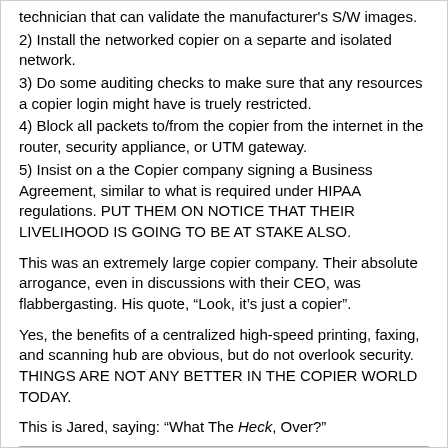technician that can validate the manufacturer's S/W images.
2) Install the networked copier on a separte and isolated network.
3) Do some auditing checks to make sure that any resources a copier login might have is truely restricted.
4) Block all packets to/from the copier from the internet in the router, security appliance, or UTM gateway.
5) Insist on a the Copier company signing a Business Agreement, similar to what is required under HIPAA regulations. PUT THEM ON NOTICE THAT THEIR LIVELIHOOD IS GOING TO BE AT STAKE ALSO.
This was an extremely large copier company. Their absolute arrogance, even in discussions with their CEO, was flabbergasting. His quote, “Look, it’s just a copier”.
Yes, the benefits of a centralized high-speed printing, faxing, and scanning hub are obvious, but do not overlook security. THINGS ARE NOT ANY BETTER IN THE COPIER WORLD TODAY.
This is Jared, saying: “What The Heck, Over?”